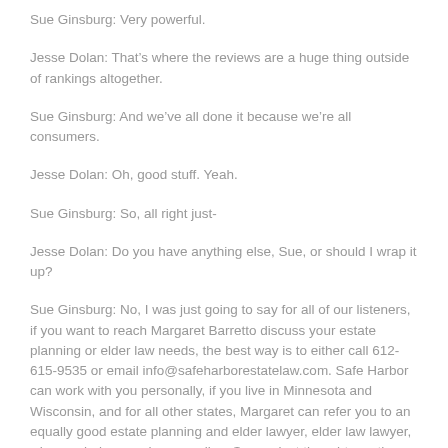Sue Ginsburg: Very powerful.
Jesse Dolan: That's where the reviews are a huge thing outside of rankings altogether.
Sue Ginsburg: And we've all done it because we're all consumers.
Jesse Dolan: Oh, good stuff. Yeah.
Sue Ginsburg: So, all right just-
Jesse Dolan: Do you have anything else, Sue, or should I wrap it up?
Sue Ginsburg: No, I was just going to say for all of our listeners, if you want to reach Margaret Barretto discuss your estate planning or elder law needs, the best way is to either call 612-615-9535 or email info@safeharborestatelaw.com. Safe Harbor can work with you personally, if you live in Minnesota and Wisconsin, and for all other states, Margaret can refer you to an equally good estate planning and elder lawyer, elder law lawyer, who can help you where you live. So any last thoughts on the importance of reviews and getting you where you are now?